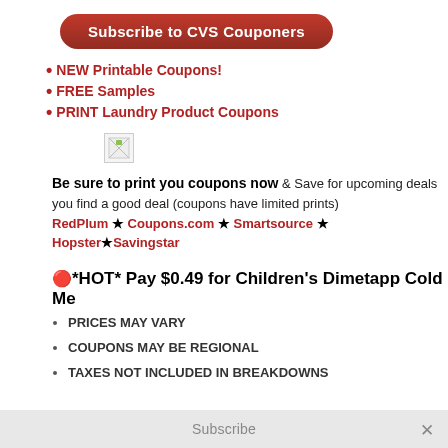Subscribe to CVS Couponers
NEW Printable Coupons!
FREE Samples
PRINT Laundry Product Coupons
[Figure (other): Broken image placeholder icon]
Be sure to print you coupons now & Save for upcoming deals you find a good deal (coupons have limited prints) RedPlum ★ Coupons.com ★ Smartsource ★ Hopster★Savingstar
🔴*HOT* Pay $0.49 for Children's Dimetapp Cold Me...
PRICES MAY VARY
COUPONS MAY BE REGIONAL
TAXES NOT INCLUDED IN BREAKDOWNS